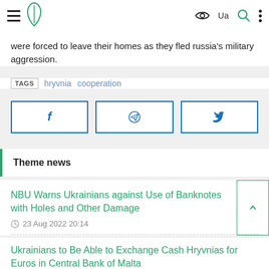Navigation bar with hamburger menu, logo, eye icon, Ua language toggle, search icon, and more options
were forced to leave their homes as they fled russia's military aggression.
TAGS  hryvnia  cooperation
[Figure (other): Social share buttons: Facebook, Telegram, Twitter]
Theme news
NBU Warns Ukrainians against Use of Banknotes with Holes and Other Damage
23 Aug 2022 20:14
Ukrainians to Be Able to Exchange Cash Hryvnias for Euros in Central Bank of Malta